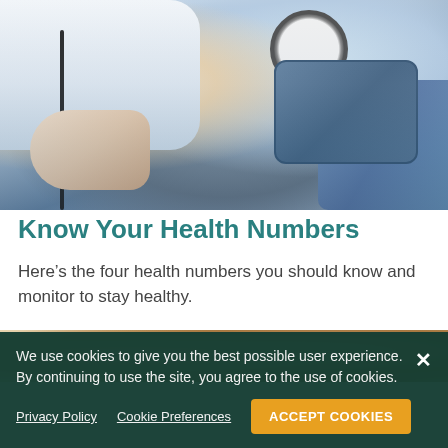[Figure (photo): Close-up photo of a doctor in a white coat measuring a patient's blood pressure with a sphygmomanometer (blood pressure cuff) and stethoscope]
Know Your Health Numbers
Here’s the four health numbers you should know and monitor to stay healthy.
[Figure (photo): Partial photo showing what appears to be medical or bedroom setting, partially obscured by cookie banner]
We use cookies to give you the best possible user experience. By continuing to use the site, you agree to the use of cookies.
Privacy Policy   Cookie Preferences
ACCEPT COOKIES